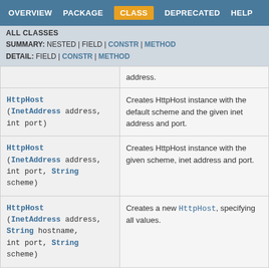OVERVIEW  PACKAGE  CLASS  DEPRECATED  HELP
ALL CLASSES
SUMMARY: NESTED | FIELD | CONSTR | METHOD
DETAIL: FIELD | CONSTR | METHOD
| Constructor | Description |
| --- | --- |
| HttpHost(InetAddress address, int port) | Creates HttpHost instance with the default scheme and the given inet address and port. |
| HttpHost(InetAddress address, int port, String scheme) | Creates HttpHost instance with the given scheme, inet address and port. |
| HttpHost(InetAddress address, String hostname, int port, String scheme) | Creates a new HttpHost, specifying all values. |